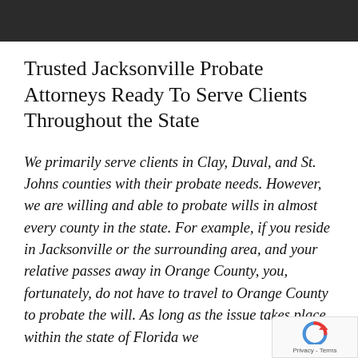Trusted Jacksonville Probate Attorneys Ready To Serve Clients Throughout the State
We primarily serve clients in Clay, Duval, and St. Johns counties with their probate needs. However, we are willing and able to probate wills in almost every county in the state. For example, if you reside in Jacksonville or the surrounding area, and your relative passes away in Orange County, you, fortunately, do not have to travel to Orange County to probate the will. As long as the issue takes place within the state of Florida we
[Figure (logo): reCAPTCHA badge with logo and Privacy - Terms text]